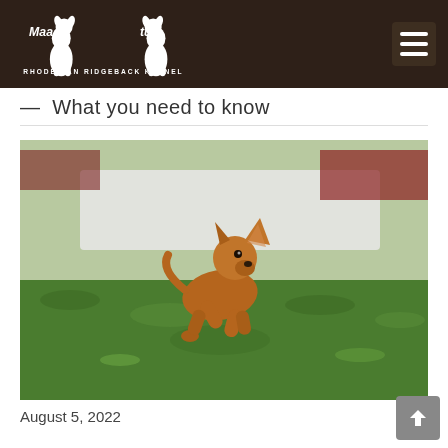Maahina Cantus – Rhodesian Ridgeback Kennel
— What you need to know
[Figure (photo): A brown/tan Rhodesian Ridgeback puppy running across green grass with blurred white wall and red building in the background.]
August 5, 2022